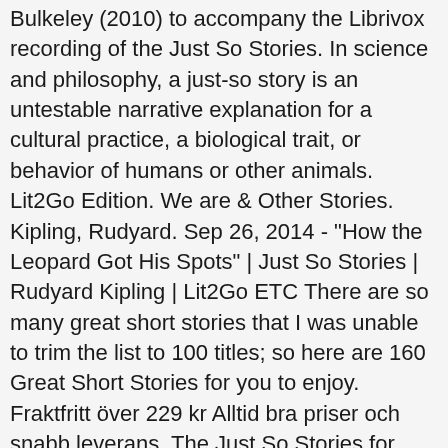Bulkeley (2010) to accompany the Librivox recording of the Just So Stories. In science and philosophy, a just-so story is an untestable narrative explanation for a cultural practice, a biological trait, or behavior of humans or other animals. Lit2Go Edition. We are & Other Stories. Kipling, Rudyard. Sep 26, 2014 - "How the Leopard Got His Spots" | Just So Stories | Rudyard Kipling | Lit2Go ETC There are so many great short stories that I was unable to trim the list to 100 titles; so here are 160 Great Short Stories for you to enjoy. Fraktfritt över 229 kr Alltid bra priser och snabb leverans. The Just So Stories for Little Children are among Kipling's best known and loved works. Each story is accompanied by a poem, in a somewhat ballad style. Alice's Adventures in Wonderland (1865) is a work of children's literature by the English mathematician and author, Reverend Charles Lutwidge Dodgson, written under the pseudonym Lewis Carroll. Youth and Heart of